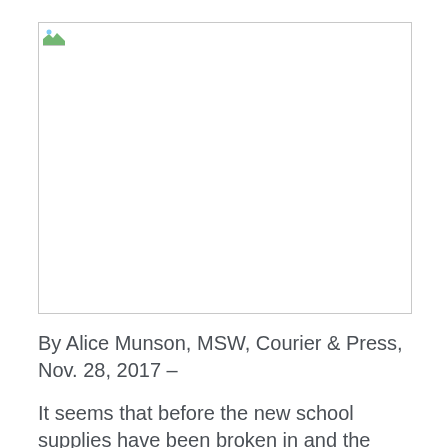[Figure (photo): Broken/missing image placeholder with landscape icon in top-left corner and horizontal rule across the top]
By Alice Munson, MSW, Courier & Press, Nov. 28, 2017 –
It seems that before the new school supplies have been broken in and the Halloween costumes are put away for the